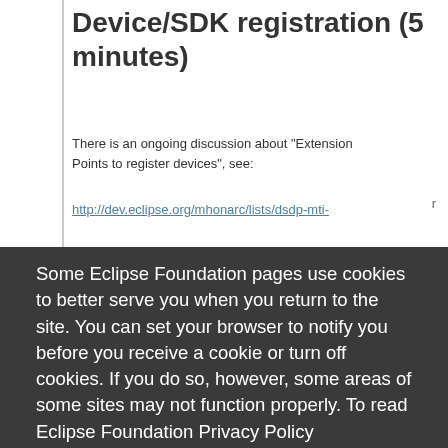Device/SDK registration (5 minutes)
There is an ongoing discussion about "Extension Points to register devices", see:
http://dev.eclipse.org/mhonarc/lists/dsdp-mti-
Some Eclipse Foundation pages use cookies to better serve you when you return to the site. You can set your browser to notify you before you receive a cookie or turn off cookies. If you do so, however, some areas of some sites may not function properly. To read Eclipse Foundation Privacy Policy
click here.
Decline
Allow cookies
As a side note: This proposed Extension Point will modify the API of MT1, and has possible impact on a